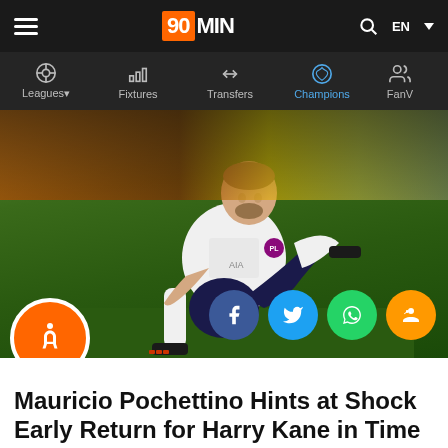90MIN — Leagues, Fixtures, Transfers, Champions, FanV...
[Figure (photo): Harry Kane in Tottenham Hotspur white and navy kit sitting on the grass pitch holding his ankle, appearing injured, with blurred stadium background]
Mauricio Pochettino Hints at Shock Early Return for Harry Kane in Time